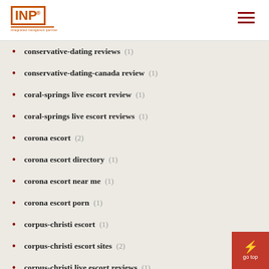INP logo and navigation
conservative-dating reviews (1)
conservative-dating-canada review (1)
coral-springs live escort review (1)
coral-springs live escort reviews (1)
corona escort (2)
corona escort directory (1)
corona escort near me (1)
corona escort porn (1)
corpus-christi escort (1)
corpus-christi escort sites (2)
corpus-christi live escort reviews (1)